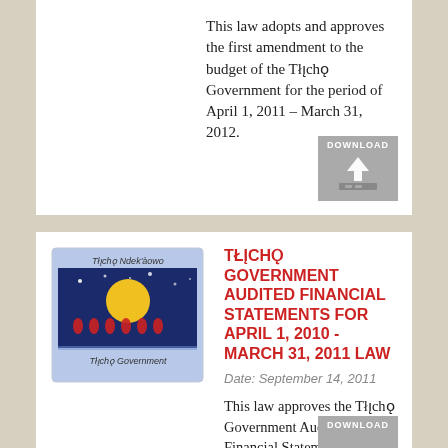This law adopts and approves the first amendment to the budget of the Tłı̨chǫ Government for the period of April 1, 2011 – March 31, 2012.
[Figure (other): Download button icon with arrow pointing down]
[Figure (logo): Tłı̨chǫ Government logo with night sky scene and text 'Tłı̨chǫ Ndek'àowo' and 'Tłı̨chǫ Government']
TŁĮCHǪ GOVERNMENT AUDITED FINANCIAL STATEMENTS FOR APRIL 1, 2010 - MARCH 31, 2011 LAW
Date: September 14, 2011
This law approves the Tłı̨chǫ Government Audited Financial Statements for April 1, 2010 to March 31, 2011.
[Figure (other): Download button icon partially visible at bottom]